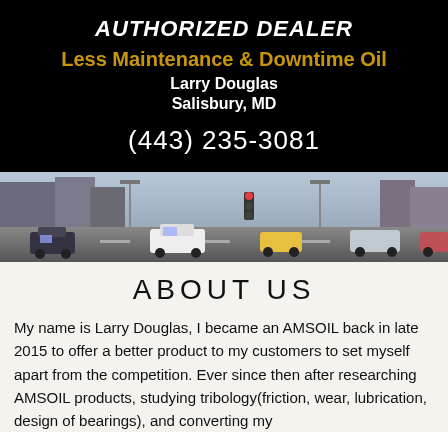AUTHORIZED DEALER
Less Maintenance & Downtime Oil
Larry Douglas
Salisbury, MD
(443) 235-3081
[Figure (photo): Street scene with cars and traffic in a city]
ABOUT US
My name is Larry Douglas, I became an AMSOIL back in late 2015 to offer a better product to my customers to set myself apart from the competition. Ever since then after researching AMSOIL products, studying tribology(friction, wear, lubrication, design of bearings), and converting my